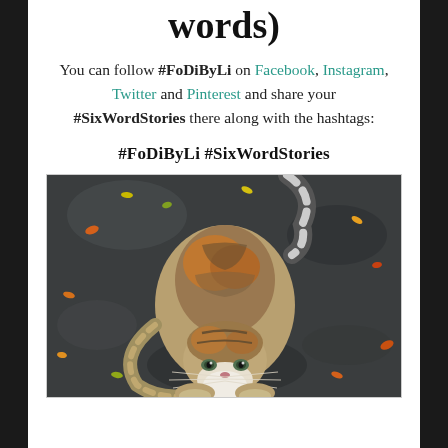words)
You can follow #FoDiByLi on Facebook, Instagram, Twitter and Pinterest and share your #SixWordStories there along with the hashtags:
#FoDiByLi #SixWordStories
[Figure (photo): A tabby/calico cat viewed from above, crouching on a dark stone or asphalt surface scattered with small colorful autumn leaves. The cat looks up at the camera with greenish eyes, white chin, brown and grey striped fur with orange patches.]